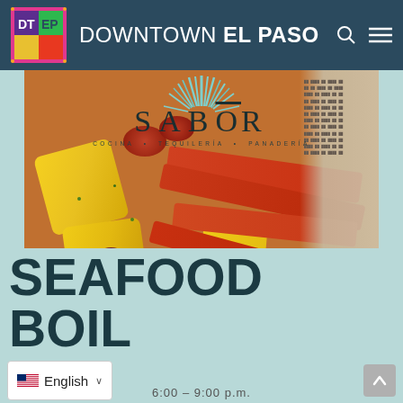DOWNTOWN EL PASO
[Figure (photo): Sabor restaurant logo with burst graphic and seafood boil dish photo showing crab legs, corn on the cob, shrimp, sausage and potatoes on newspaper]
SEAFOOD BOIL
English  6:00 - 9:00 p.m.